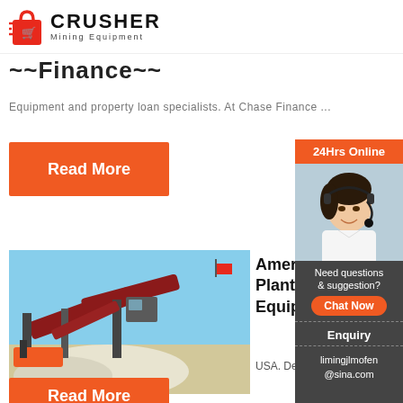[Figure (logo): Crusher Mining Equipment logo with red shopping bag icon and bold CRUSHER text]
Finance
Equipment and property loan specialists. At Chase Finance ...
Read More
[Figure (photo): Mining crushing plant equipment with conveyor belts and rock piles outdoors]
American Plant Equipment
USA. Dea...
Read More
[Figure (infographic): 24Hrs Online sidebar with customer service representative photo, Need questions & suggestion? Chat Now button, Enquiry link, and limingjlmofen@sina.com email]